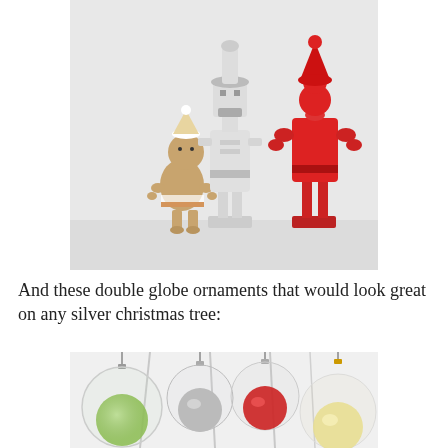[Figure (photo): Three decorative nutcracker figures on a white background: a small wooden nutcracker with white hat, a tall white modern nutcracker in the center, and a tall red nutcracker on the right.]
And these double globe ornaments that would look great on any silver christmas tree:
[Figure (photo): Double globe glass Christmas ornaments hanging: green/silver, silver/silver, red/clear, and gold/clear combinations against a white background with bare branches.]